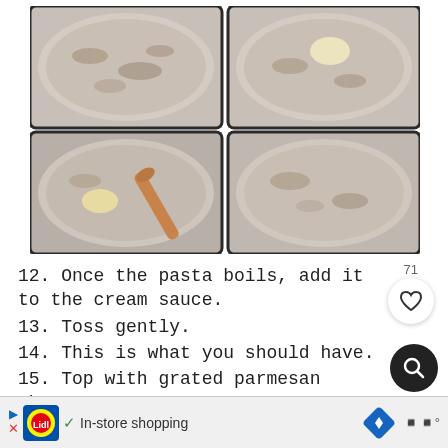[Figure (photo): Four-panel photo showing pans with creamy mushroom sauce in different stages: top-left plain cream sauce with mushrooms, top-right with a pat of butter added, bottom-left being stirred with a wooden spoon and butter melting, bottom-right fully combined smooth sauce.]
12. Once the pasta boils, add it to the cream sauce.
13. Toss gently.
14. This is what you should have.
15. Top with grated parmesan cheese.
▶ Lidl ✓ In-store shopping [navigation icon] [weather icon]